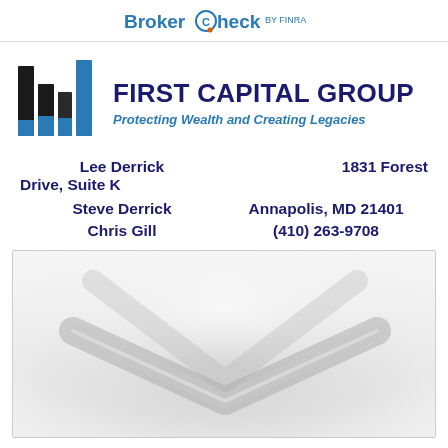BrokerCheck by FINRA
[Figure (logo): First Capital Group logo with bar chart icon showing black and blue bars]
FIRST CAPITAL GROUP
Protecting Wealth and Creating Legacies
Lee Derrick   1831 Forest Drive, Suite K
Steve Derrick   Annapolis, MD 21401
Chris Gill   (410) 263-9708
[Figure (photo): Blurred image of two people shaking hands in business attire]